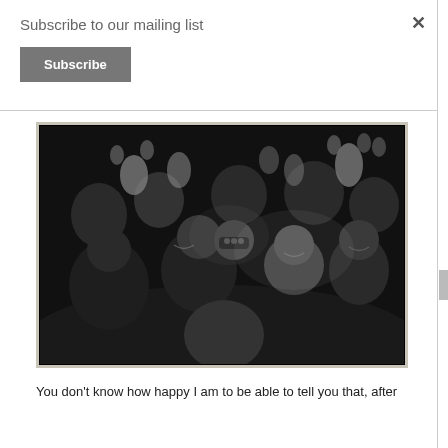Subscribe to our mailing list
Subscribe
[Figure (photo): Black and white photograph of a crowd of people at what appears to be a party or concert, with people raising their hands and smiling, some wearing masks.]
You don’t know how happy I am to be able to tell you that, after